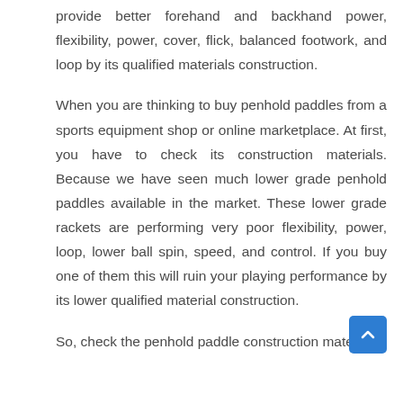provide better forehand and backhand power, flexibility, power, cover, flick, balanced footwork, and loop by its qualified materials construction.
When you are thinking to buy penhold paddles from a sports equipment shop or online marketplace. At first, you have to check its construction materials. Because we have seen much lower grade penhold paddles available in the market. These lower grade rackets are performing very poor flexibility, power, loop, lower ball spin, speed, and control. If you buy one of them this will ruin your playing performance by its lower qualified material construction.
So, check the penhold paddle construction material